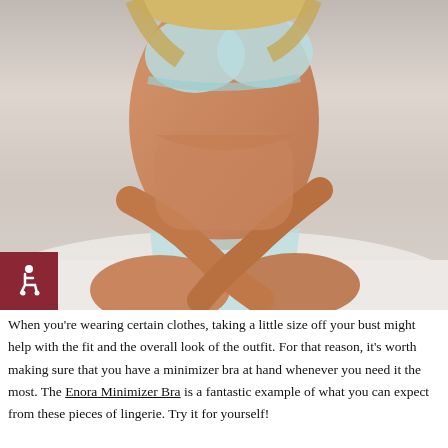[Figure (photo): A woman wearing light blue/white lingerie (bra and underwear) sitting on a white bed, photographed from the torso down, with an accessibility icon badge overlaid in the lower left corner.]
When you're wearing certain clothes, taking a little size off your bust might help with the fit and the overall look of the outfit. For that reason, it's worth making sure that you have a minimizer bra at hand whenever you need it the most. The Enora Minimizer Bra is a fantastic example of what you can expect from these pieces of lingerie. Try it for yourself!